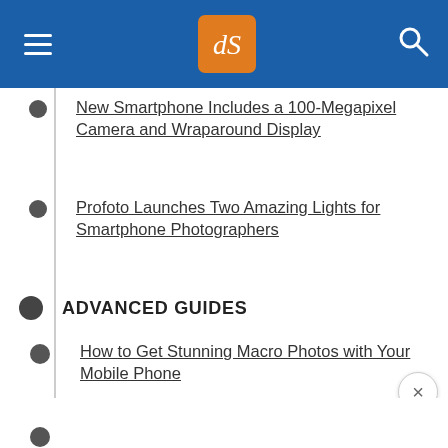dPS (Digital Photography School) navigation header
New Smartphone Includes a 100-Megapixel Camera and Wraparound Display
Profoto Launches Two Amazing Lights for Smartphone Photographers
ADVANCED GUIDES
How to Get Stunning Macro Photos with Your Mobile Phone
How to Use a Cell Phone for Dramatic Night Photography
6 Quick Tips for Low Light Smartphone Photography